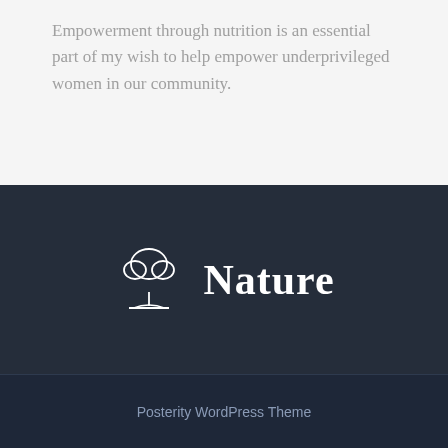Empowerment through nutrition is an essential part of my wish to help empower underprivileged women in our community.
[Figure (logo): Tree logo icon with the word Nature in bold serif font on a dark navy background]
Posterity WordPress Theme